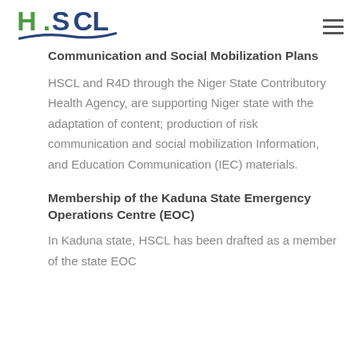[Figure (logo): HSCL logo with green letters and blue wave/swoosh element]
Communication and Social Mobilization Plans
HSCL and R4D through the Niger State Contributory Health Agency, are supporting Niger state with the adaptation of content; production of risk communication and social mobilization Information, and Education Communication (IEC) materials.
Membership of the Kaduna State Emergency Operations Centre (EOC)
In Kaduna state, HSCL has been drafted as a member of the state EOC